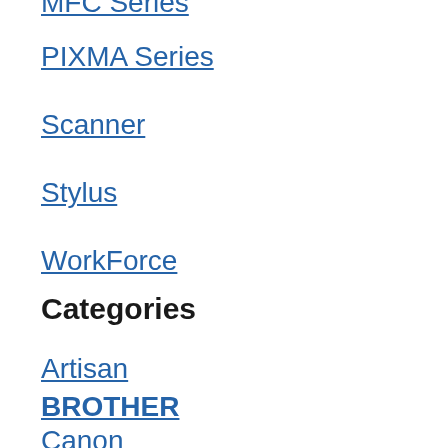MFC Series
PIXMA Series
Scanner
Stylus
WorkForce
XP Series
Categories
Artisan
BROTHER
Canon